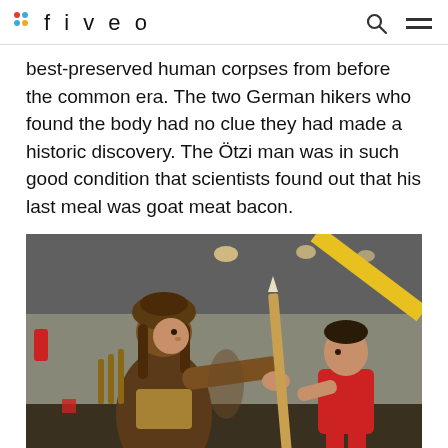fiveo
best-preserved human corpses from before the common era. The two German hikers who found the body had no clue they had made a historic discovery. The Ötzi man was in such good condition that scientists found out that his last meal was goat meat bacon.
[Figure (photo): A person dressed in prehistoric cave-man costume made of furs and straw, reaching out toward a young boy in a red shirt who is holding a long wooden stick/spear, inside what appears to be a museum exhibit hall with overhead lighting.]